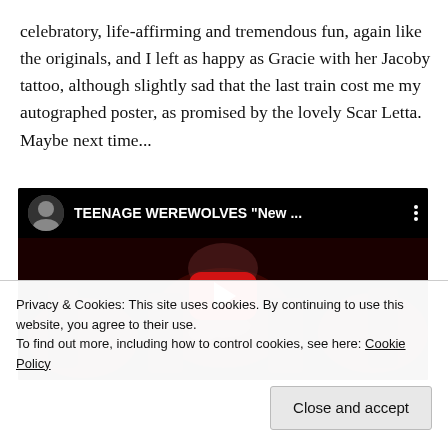celebratory, life-affirming and tremendous fun, again like the originals, and I left as happy as Gracie with her Jacoby tattoo, although slightly sad that the last train cost me my autographed poster, as promised by the lovely Scar Letta. Maybe next time...
[Figure (screenshot): Embedded YouTube video thumbnail showing a dark concert scene with band members performing, red stage lighting. Video title reads 'TEENAGE WEREWOLVES "New ...' with a large red play button in the center.]
Privacy & Cookies: This site uses cookies. By continuing to use this website, you agree to their use.
To find out more, including how to control cookies, see here: Cookie Policy